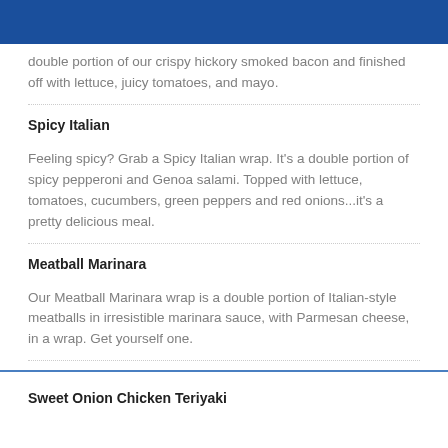double portion of our crispy hickory smoked bacon and finished off with lettuce, juicy tomatoes, and mayo.
Spicy Italian
Feeling spicy? Grab a Spicy Italian wrap. It's a double portion of spicy pepperoni and Genoa salami. Topped with lettuce, tomatoes, cucumbers, green peppers and red onions...it's a pretty delicious meal.
Meatball Marinara
Our Meatball Marinara wrap is a double portion of Italian-style meatballs in irresistible marinara sauce, with Parmesan cheese, in a wrap. Get yourself one.
Sweet Onion Chicken Teriyaki